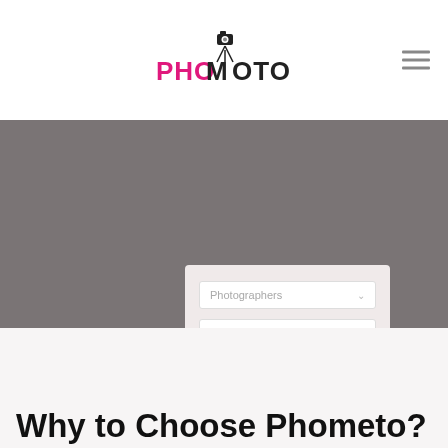[Figure (logo): Phometo logo with camera tripod icon and stylized text 'PHOMOTO' in pink and black]
[Figure (screenshot): Gray background section showing a web form card with two dropdowns labeled 'Photographers' and 'Mandiya' and a pink 'REQUEST QUOTE' button]
Why to Choose Phometo?